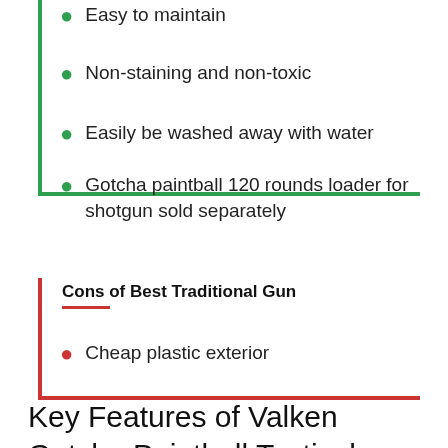Easy to maintain
Non-staining and non-toxic
Easily be washed away with water
Gotcha paintball 120 rounds loader for shotgun sold separately
Cons of Best Traditional Gun
Cheap plastic exterior
Key Features of Valken Gotcha Paintball Tactical shotgun 50 Cal
Hoppers: For paintball guns with electronic